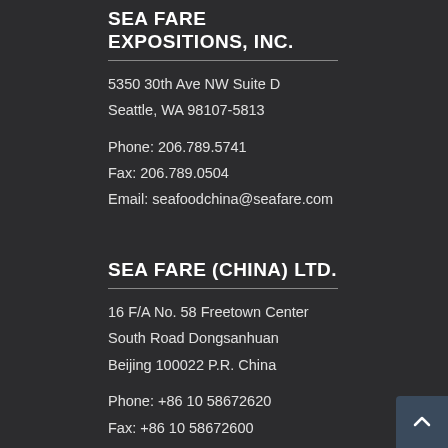SEA FARE EXPOSITIONS, INC.
5350 30th Ave NW Suite D
Seattle, WA 98107-5813
Phone: 206.789.5741
Fax: 206.789.0504
Email: seafoodchina@seafare.com
SEA FARE (CHINA) LTD.
16 F/A No. 58 Freetown Center
South Road Dongsanhuan
Beijing 100022 P.R. China
Phone: +86 10 58672620
Fax: +86 10 58672600
Email: info@seafarechina.com
Website: www.seafarechina.com